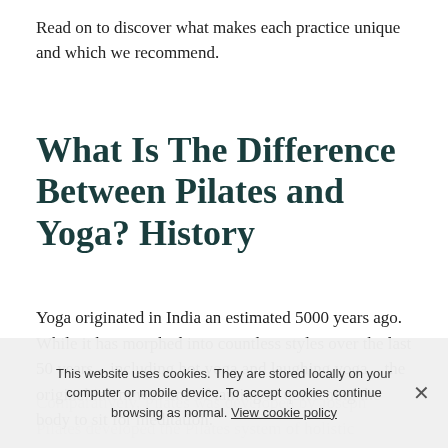Read on to discover what makes each practice unique and which we recommend.
What Is The Difference Between Pilates and Yoga? History
Yoga originated in India an estimated 5000 years ago. While it has morphed into countless styles over the last 50 years – including hot yoga and laughing yoga – the original intent was one of taming or quietening the body to sit for meditation.
Comparatively, Pilates was developed by Joseph Pilates developed the Pilates system of holistic
This website uses cookies. They are stored locally on your computer or mobile device. To accept cookies continue browsing as normal. View cookie policy